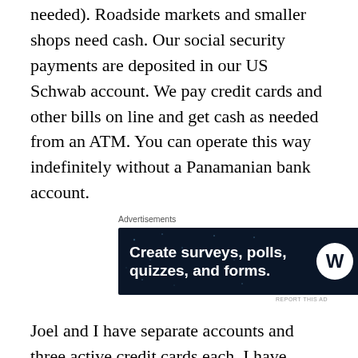needed). Roadside markets and smaller shops need cash. Our social security payments are deposited in our US Schwab account. We pay credit cards and other bills on line and get cash as needed from an ATM. You can operate this way indefinitely without a Panamanian bank account.
[Figure (screenshot): Advertisement banner for WordPress surveys/polls/quizzes product with dark navy background and white text reading 'Create surveys, polls, quizzes, and forms.' with WordPress and SurveyMonkey logos]
Joel and I have separate accounts and three active credit cards each. I have known people who come here with only one or two credit cards and then if there is a problem, it can be a huge problem! We have things set up so we can move money between accounts and between banks, so hopefully we will never be left without access to our